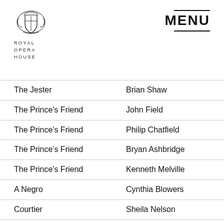[Figure (logo): Royal Opera House crest/coat of arms logo with text ROYAL OPERA HOUSE below]
MENU
| Role | Performer |
| --- | --- |
| The Jester | Brian Shaw |
| The Prince's Friend | John Field |
| The Prince's Friend | Philip Chatfield |
| The Prince's Friend | Bryan Ashbridge |
| The Prince's Friend | Kenneth Melville |
| A Negro | Cynthia Blowers |
| Courtier | Sheila Nelson |
| Courtier | Catherine Boulton |
| Courtier | Yvonne English |
| Courtier | Diane Forhan |
| Courtier | Valerie Taylor |